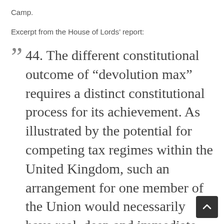Camp.
Excerpt from the House of Lords' report:
44. The different constitutional outcome of “devolution max” requires a distinct constitutional process for its achievement. As illustrated by the potential for competing tax regimes within the United Kingdom, such an arrangement for one member of the Union would necessarily have real, deep and immediate consequences for the other members and for the Union as